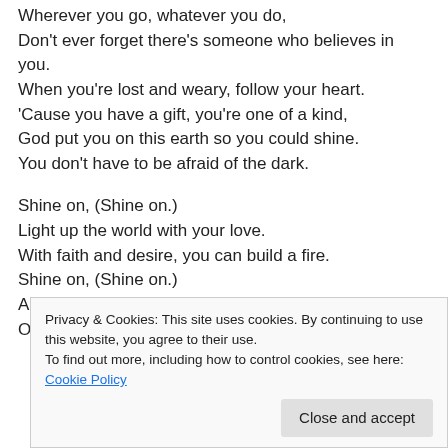Wherever you go, whatever you do, Don't ever forget there's someone who believes in you. When you're lost and weary, follow your heart. 'Cause you have a gift, you're one of a kind, God put you on this earth so you could shine. You don't have to be afraid of the dark.

Shine on, (Shine on.) Light up the world with your love. With faith and desire, you can build a fire. Shine on, (Shine on.) And let your dreams keep burning strong. Oh, shine on.
Privacy & Cookies: This site uses cookies. By continuing to use this website, you agree to their use. To find out more, including how to control cookies, see here: Cookie Policy
Close and accept